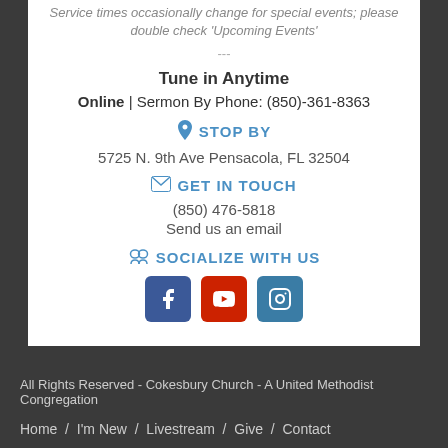Service times occasionally change for special events; please double check 'Upcoming Events'
---
Tune in Anytime
Online | Sermon By Phone: (850)-361-8363
STOP BY
5725 N. 9th Ave Pensacola, FL 32504
GET IN TOUCH
(850) 476-5818
Send us an email
SOCIALIZE WITH US
[Figure (illustration): Social media icons: Facebook (blue), YouTube (red), Instagram (blue)]
All Rights Reserved - Cokesbury Church - A United Methodist Congregation
Home / I'm New / Livestream / Give / Contact